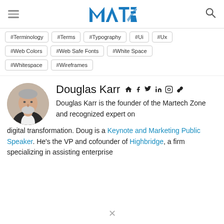Martech Zone (MTE) logo, navigation menu, search icon
#Terminology #Terms #Typography #Ui #Ux
#Web Colors #Web Safe Fonts #White Space
#Whitespace #Wireframes
Douglas Karr
Douglas Karr is the founder of the Martech Zone and recognized expert on digital transformation. Doug is a Keynote and Marketing Public Speaker. He's the VP and cofounder of Highbridge, a firm specializing in assisting enterprise